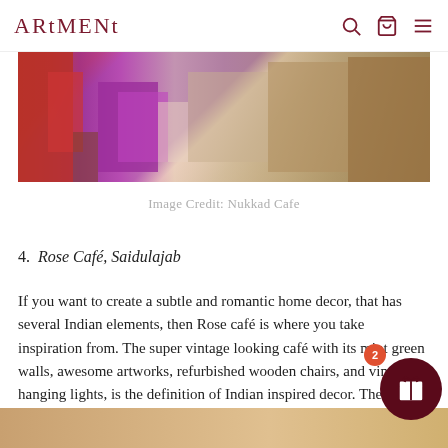ARtMENt — header with search, cart, and menu icons
[Figure (photo): Interior of Nukkad Cafe showing colorful seating — red cushions, magenta/pink chairs, wooden tables and chairs, white walls, vintage decor]
Image Credit: Nukkad Cafe
4. Rose Café, Saidulajab
If you want to create a subtle and romantic home decor, that has several Indian elements, then Rose café is where you take inspiration from. The super vintage looking café with its mint green walls, awesome artworks, refurbished wooden chairs, and vintage hanging lights, is the definition of Indian inspired decor. The cabinets in the café display Victorian plates, which you'll find with us too!
[Figure (photo): Bottom partial image — warm golden tones, cafe interior]